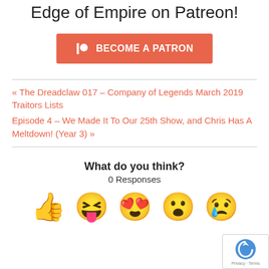Edge of Empire on Patreon!
[Figure (other): Become a Patron button in orange/red with Patreon logo icon]
« The Dreadclaw 017 – Company of Legends March 2019 Traitors Lists
Episode 4 – We Made It To Our 25th Show, and Chris Has A Meltdown! (Year 3) »
What do you think?
0 Responses
[Figure (illustration): Row of emoji reaction icons: thumbs up, laughing face with tongue, heart eyes, surprised/wow face, crying face, and partial emoji]